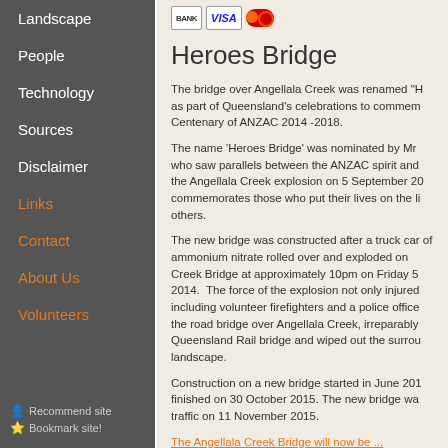Landscape
People
Technology
Sources
Disclaimer
Links
Contact
About Us
Volunteers
Recommend site
Bookmark site!
[Figure (other): Payment icons: BANK, VISA, Mastercard]
Heroes Bridge
The bridge over Angellala Creek was renamed "H... as part of Queensland's celebrations to commem... Centenary of ANZAC 2014 -2018.
The name ‘Heroes Bridge’ was nominated by Mr... who saw parallels between the ANZAC spirit and... the Angellala Creek explosion on 5 September 20... commemorates those who put their lives on the li... others.
The new bridge was constructed after a truck car... of ammonium nitrate rolled over and exploded on... Creek Bridge at approximately 10pm on Friday 5... 2014.  The force of the explosion not only injured... including volunteer firefighters and a police office... the road bridge over Angellala Creek, irreparably... Queensland Rail bridge and wiped out the surrou... landscape.
Construction on a new bridge started in June 201... finished on 30 October 2015. The new bridge wa... traffic on 11 November 2015.
The Angellala Creek Bridge will now be ...